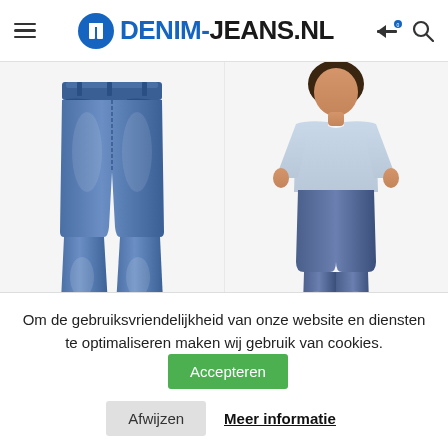DENIM-JEANS.NL
[Figure (photo): Product photo of blue skinny jeans laid flat on white background (Mile High Superskinny)]
[Figure (photo): Model wearing blue High Rise jeans with light grey sweatshirt (720™ High Rise)]
Mile High Superskinny
720™ High Rise
Om de gebruiksvriendelijkheid van onze website en diensten te optimaliseren maken wij gebruik van cookies.
Accepteren
Afwijzen
Meer informatie